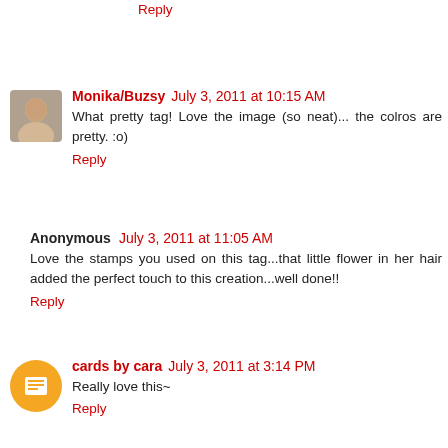Reply
Monika/Buzsy July 3, 2011 at 10:15 AM
What pretty tag! Love the image (so neat)... the colros are pretty. :o)
Reply
Anonymous July 3, 2011 at 11:05 AM
Love the stamps you used on this tag...that little flower in her hair added the perfect touch to this creation...well done!!
Reply
cards by cara July 3, 2011 at 3:14 PM
Really love this~
Reply